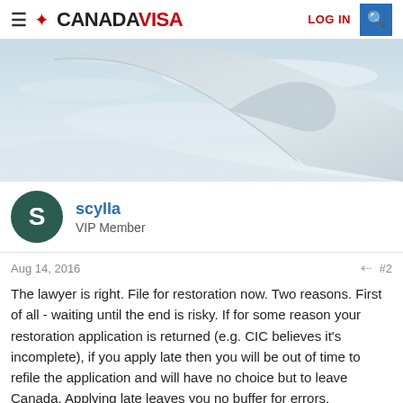CANADAVISA — LOG IN
[Figure (photo): Close-up of an airplane wing tip against a light blue sky, soft focus aesthetic in white and light blue tones.]
scylla
VIP Member
Aug 14, 2016  #2
The lawyer is right. File for restoration now. Two reasons. First of all - waiting until the end is risky. If for some reason your restoration application is returned (e.g. CIC believes it's incomplete), if you apply late then you will be out of time to refile the application and will have no choice but to leave Canada. Applying late leaves you no buffer for errors.